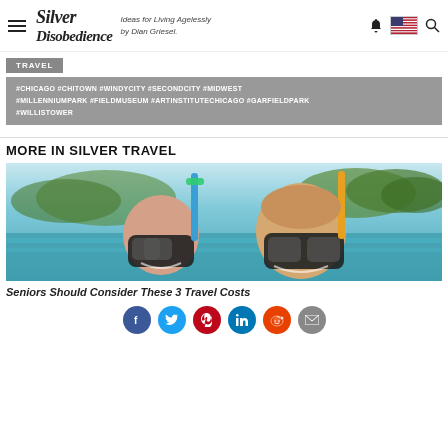Silver Disobedience — Ideas for Living Agelessly by Dian Griesel.
TRAVEL
#CHICAGO #CHITOWN #WINDYCITY #SECONDCITY #MIDWEST #MILLENNIUMPARK #FIELDMUSEUM #ARTINSTITUTECHICAGO #GARFIELDPARK #WILLISTOWER
MORE IN SILVER TRAVEL
[Figure (photo): Two seniors snorkeling in tropical water, wearing masks and snorkels, smiling at camera with beach and palm trees in background.]
Seniors Should Consider These 3 Travel Costs